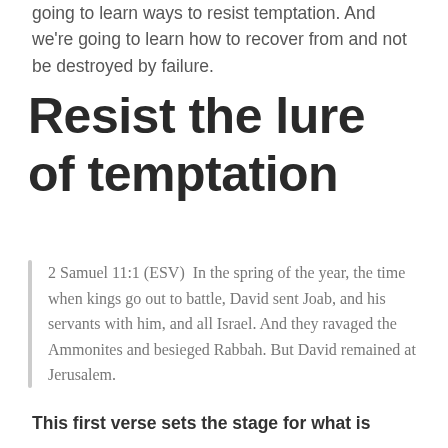going to learn ways to resist temptation. And we're going to learn how to recover from and not be destroyed by failure.
Resist the lure of temptation
2 Samuel 11:1 (ESV)  In the spring of the year, the time when kings go out to battle, David sent Joab, and his servants with him, and all Israel. And they ravaged the Ammonites and besieged Rabbah. But David remained at Jerusalem.
This first verse sets the stage for what is